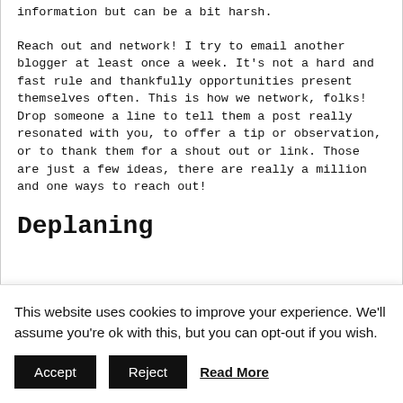information but can be a bit harsh.
Reach out and network!  I try to email another blogger at least once a week.  It's not a hard and fast rule and thankfully opportunities present themselves often.  This is how we network, folks!  Drop someone a line to tell them a post really resonated with you, to offer a tip or observation, or to thank them for a shout out or link.  Those are just a few ideas, there are really a million and one ways to reach out!
Deplaning
This website uses cookies to improve your experience. We'll assume you're ok with this, but you can opt-out if you wish.